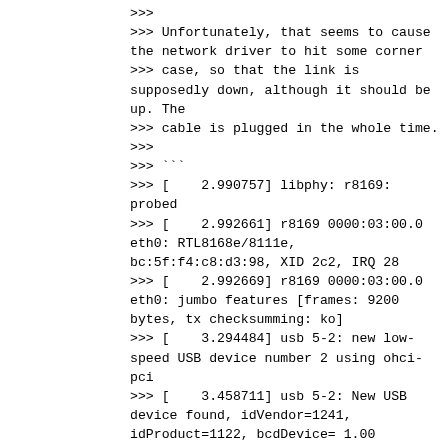>>>
>>> Unfortunately, that seems to cause the network driver to hit some corner
>>> case, so that the link is supposedly down, although it should be up. The
>>> cable is plugged in the whole time.
>>>
>>> ```
>>> [    2.990757] libphy: r8169: probed
>>> [    2.992661] r8169 0000:03:00.0 eth0: RTL8168e/8111e, bc:5f:f4:c8:d3:98, XID 2c2, IRQ 28
>>> [    2.992669] r8169 0000:03:00.0 eth0: jumbo features [frames: 9200 bytes, tx checksumming: ko]
>>> [    3.294484] usb 5-2: new low-speed USB device number 2 using ohci-pci
>>> [    3.458711] usb 5-2: New USB device found, idVendor=1241, idProduct=1122, bcdDevice= 1.00
>>> [    3.458718] usb 5-2: New USB device strings: Mfr=0, Product=0, SerialNumber=0
>>> [    3.485065] input: HID 1241:1122 as /devices/pci0000:00/0000:00:12.0/usb5/5-2/5-